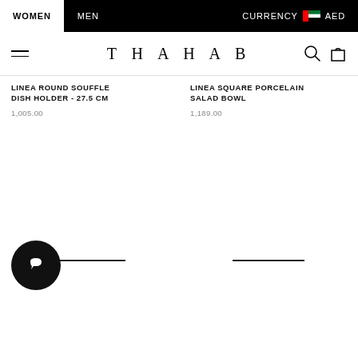WOMEN | MEN | CURRENCY AED
[Figure (logo): THAHAB brand logo with hamburger menu, search icon, and bag icon]
LINEA ROUND SOUFFLE DISH HOLDER - 27.5 CM
1,005.00
LINEA SQUARE PORCELAIN SALAD BOWL
1,189.00
[Figure (illustration): Chat/messenger app icon - black circle with white chat bubble]
[Figure (other): Two horizontal decorative lines, one under each product column]